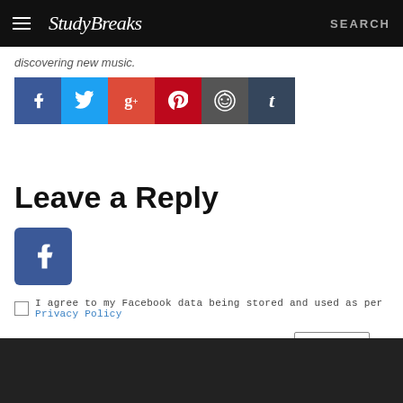Study Breaks — SEARCH
discovering new music.
[Figure (infographic): Social share buttons: Facebook, Twitter, Google+, Pinterest, Reddit, Tumblr]
Leave a Reply
[Figure (logo): Facebook login button (blue square with white f)]
I agree to my Facebook data being stored and used as per Privacy Policy
0 Comments    Sort by Newest